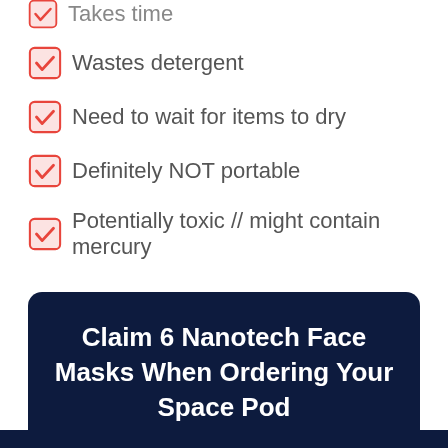Takes time
Wastes detergent
Need to wait for items to dry
Definitely NOT portable
Potentially toxic // might contain mercury
Claim 6 Nanotech Face Masks When Ordering Your Space Pod